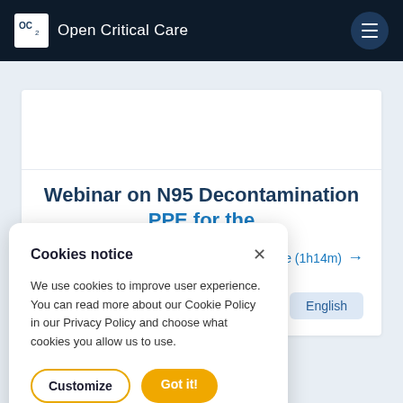[Figure (logo): Open Critical Care logo with OC2 icon and text on dark navy header bar]
Webinar on N95 Decontamination and PPE for the
n & Reuse (1h14m) →
English
Cookies notice
We use cookies to improve user experience. You can read more about our Cookie Policy in our Privacy Policy and choose what cookies you allow us to use.
Customize   Got it!